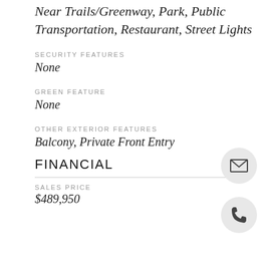Near Trails/Greenway, Park, Public Transportation, Restaurant, Street Lights
SECURITY FEATURES
None
GREEN FEATURE
None
OTHER EXTERIOR FEATURES
Balcony, Private Front Entry
FINANCIAL
SALES PRICE
$489,950